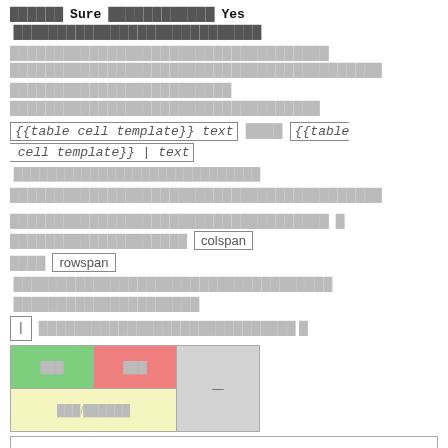Sure Yes
{{table cell template}} text ... {{table cell template}} | text ... ...
... colspan ... rowspan ... | ...
| Yes | No |  |
| Yes/No... |  |
...
!{{Yes}} ||{{No}} ||rowspan=2 {{n/a}}
|-
| ...{{Yes}}
Code block showing wiki table markup